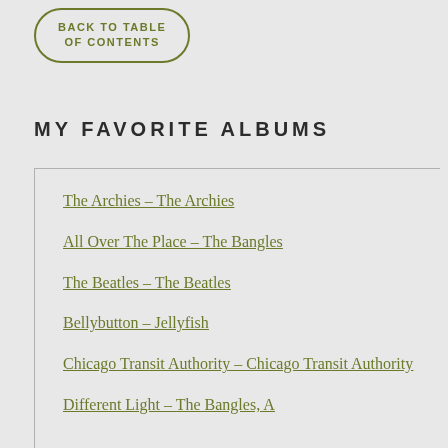BACK TO TABLE OF CONTENTS
MY FAVORITE ALBUMS
The Archies – The Archies
All Over The Place – The Bangles
The Beatles – The Beatles
Bellybutton – Jellyfish
Chicago Transit Authority – Chicago Transit Authority
Different Light – The Bangles, A